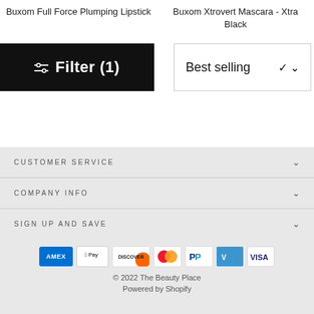Buxom Full Force Plumping Lipstick
Buxom Xtrovert Mascara - Xtra Black
Filter (1)
Best selling
CUSTOMER SERVICE
COMPANY INFO
SIGN UP AND SAVE
[Figure (other): Payment method icons: American Express, Apple Pay, Discover, Mastercard, PayPal, Venmo, Visa]
© 2022 The Beauty Place
Powered by Shopify